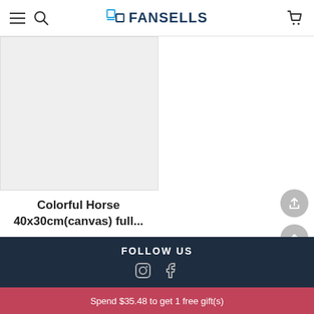FANSELLS
[Figure (photo): Product image placeholder – light grey square]
Colorful Horse 40x30cm(canvas) full...
$3.53
FOLLOW US
Spend $35.48 to get 1 free gift(s)